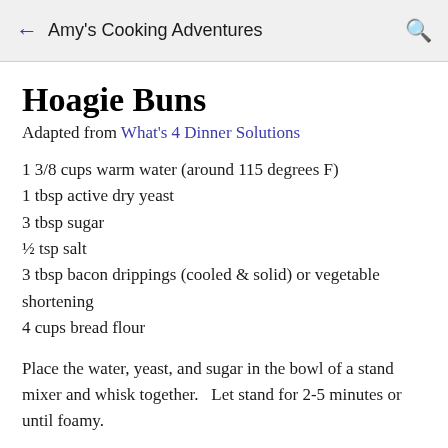← Amy's Cooking Adventures 🔍
Hoagie Buns
Adapted from What's 4 Dinner Solutions
1 3/8 cups warm water (around 115 degrees F)
1 tbsp active dry yeast
3 tbsp sugar
½ tsp salt
3 tbsp bacon drippings (cooled & solid) or vegetable shortening
4 cups bread flour
Place the water, yeast, and sugar in the bowl of a stand mixer and whisk together.   Let stand for 2-5 minutes or until foamy.
Add in the salt and fat (bacon drippings or